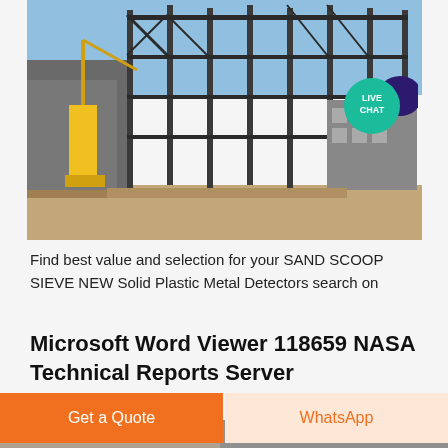[Figure (photo): Construction site photo showing a large steel frame structure being built, with a yellow crane visible on the left side. Blue sky in the background. A teal 'LIVE CHAT' badge and dark purple chat bubble icon visible in the upper right corner.]
Find best value and selection for your SAND SCOOP SIEVE NEW Solid Plastic Metal Detectors search on
Microsoft Word Viewer 118659 NASA Technical Reports Server
[Figure (photo): Partial image at bottom of page, cropped.]
Get a Quote
WhatsApp